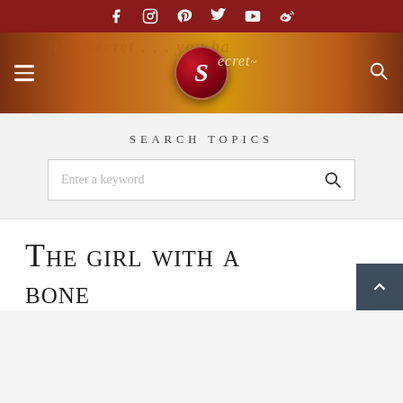Social icons: Facebook, Instagram, Pinterest, Twitter, YouTube, Weibo
[Figure (screenshot): The Secret website header banner with logo (red sphere with S), hamburger menu icon on left, search icon on right, warm orange/brown textured background with script writing]
Search Topics
Enter a keyword
The girl with a bone